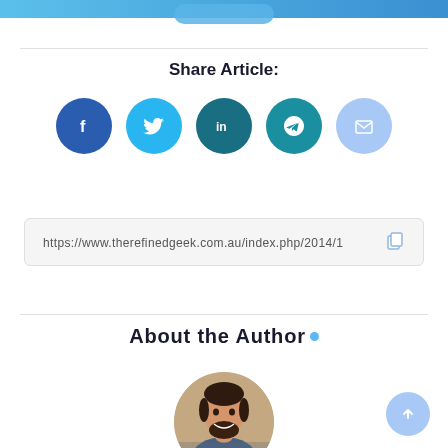Share Article:
[Figure (infographic): Social share buttons: Facebook (blue circle with f), Twitter (cyan circle with bird), LinkedIn (dark teal circle with in), Telegram (teal circle with paper plane), Email (light blue circle with envelope)]
https://www.therefinedgeek.com.au/index.php/2014/1
About the Author .
[Figure (photo): Circular profile photo of a smiling man with dark hair and beard]